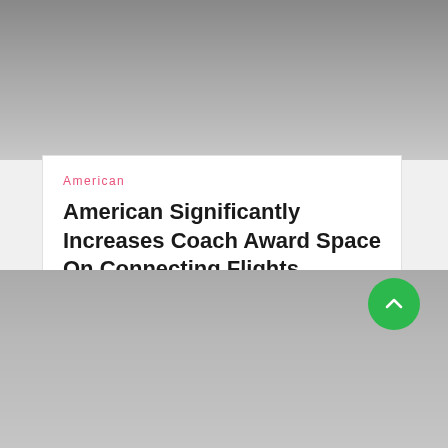[Figure (photo): Gray gradient image placeholder at the top of the page]
American
American Significantly Increases Coach Award Space On Connecting Flights
[Figure (photo): Gray gradient image placeholder at the bottom of the page with a green scroll-to-top button]